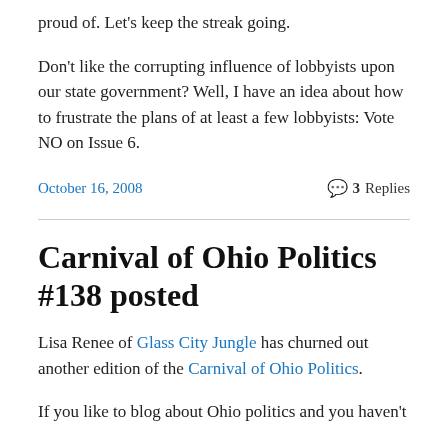proud of.  Let's keep the streak going.
Don't like the corrupting influence of lobbyists upon our state government?  Well, I have an idea about how to frustrate the plans of at least a few lobbyists:  Vote NO on Issue 6.
October 16, 2008
3 Replies
Carnival of Ohio Politics #138 posted
Lisa Renee of Glass City Jungle has churned out another edition of the Carnival of Ohio Politics.
If you like to blog about Ohio politics and you haven't